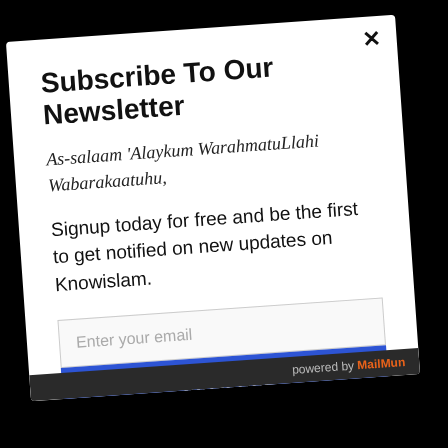Subscribe To Our Newsletter
As-salaam 'Alaykum WarahmatuLlahi Wabarakaatuhu,
Signup today for free and be the first to get notified on new updates on Knowislam.
Enter your email
Subscribe
powered by MailMun